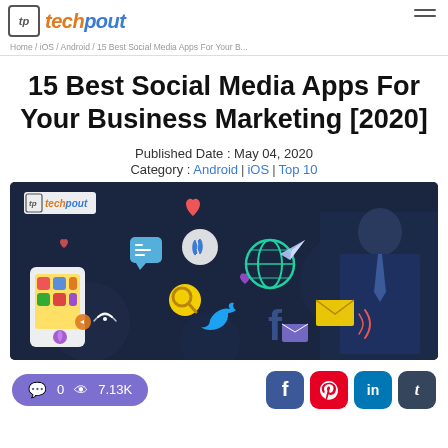Home / iOS / Android / 15 Best Social Media Apps For Your B...
15 Best Social Media Apps For Your Business Marketing [2020]
Published Date : May 04, 2020
Category : Android | iOS | Top 10
[Figure (photo): Hero image for article about best social media apps for business marketing 2020, featuring a dark background with various social media icons (heart, chat bubbles, globe, Twitter bird, Facebook 'f', email envelope, phone, magnifying glass) floating around a smartphone and a person in a suit. TechPout logo visible in top-left corner of image.]
0  7.13K